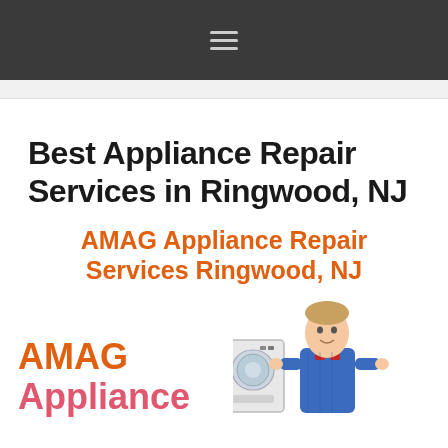☰
Best Appliance Repair Services in Ringwood, NJ
AMAG Appliance Repair Services Ringwood, NJ
[Figure (logo): AMAG Appliance logo text with a technician and washing machine illustration]
AMAG Appliance